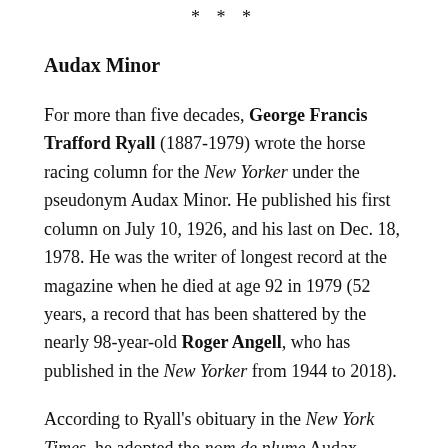* * *
Audax Minor
For more than five decades, George Francis Trafford Ryall (1887-1979) wrote the horse racing column for the New Yorker under the pseudonym Audax Minor. He published his first column on July 10, 1926, and his last on Dec. 18, 1978. He was the writer of longest record at the magazine when he died at age 92 in 1979 (52 years, a record that has been shattered by the nearly 98-year-old Roger Angell, who has published in the New Yorker from 1944 to 2018).
According to Ryall's obituary in the New York Times, he adopted the nom de plume Audax Minor in a nod to Arthur F. B. Portman, who wrote about racing in England under the name of Audax Major. Ryall's